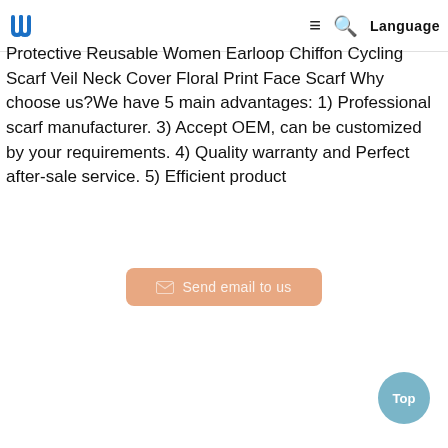UM [logo] ≡ 🔍 Language
Protective Reusable Women Earloop Chiffon Cycling Scarf Veil Neck Cover Floral Print Face Scarf Why choose us?We have 5 main advantages: 1) Professional scarf manufacturer. 3) Accept OEM, can be customized by your requirements. 4) Quality warranty and Perfect after-sale service. 5) Efficient product
[Figure (other): Send email to us button (rounded rectangle, salmon/peach color) with envelope icon]
[Figure (other): Top button (circular, blue-gray) with text 'Top']